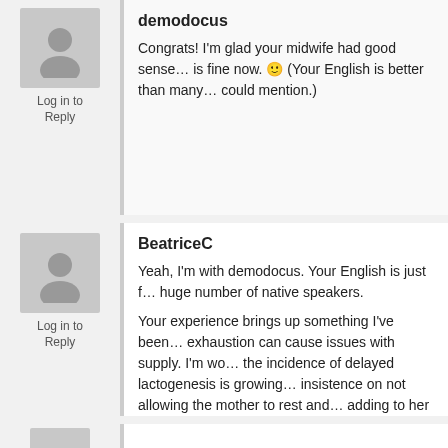demodocus
Log in to Reply
Congrats! I'm glad your midwife had good sense... is fine now. 🙂 (Your English is better than many... could mention.)
BeatriceC
Log in to Reply
Yeah, I'm with demodocus. Your English is just f... huge number of native speakers.
Your experience brings up something I've been... exhaustion can cause issues with supply. I'm wo... the incidence of delayed lactogenesis is growing... insistence on not allowing the mother to rest and... adding to her normal post-childbirth exhaustion... interested in seeing a comparison of the rates o... lactogenesis among women who have generous... rest, and access to supplementation when want... women who are deprived of the opportunity to re... lack access (or willingness, in some cases) to su...